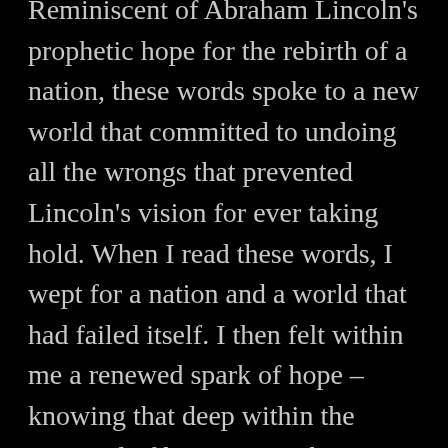Reminiscent of Abraham Lincoln's prophetic hope for the rebirth of a nation, these words spoke to a new world that committed to undoing all the wrongs that prevented Lincoln's vision for ever taking hold. When I read these words, I wept for a nation and a world that had failed itself. I then felt within me a renewed spark of hope – knowing that deep within the potential of humanity is the possibility of rebuilding our world anew.
This new world was built by those who had survived the time of destruction and seen the devastation that had been brought about by